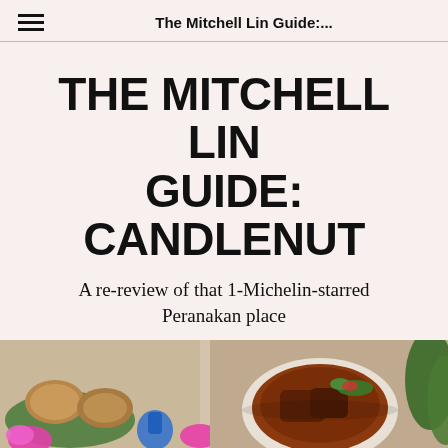The Mitchell Lin Guide:...
THE MITCHELL LIN GUIDE: CANDLENUT
A re-review of that 1-Michelin-starred Peranakan place
by JUNK
Mitchell Lin,  June 21, 2018
[Figure (photo): Food photo showing Peranakan dishes including what appears to be fried items on banana leaf and a curry stew bowl, with colorful decorative elements.]